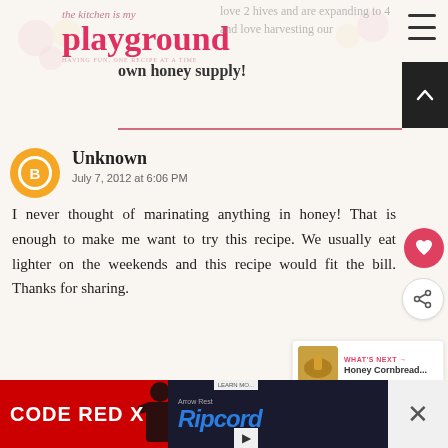the kitchen is my playground — HAVING FUN, ONE RECIPE AT A TIME
love 2 hives and are expanding to 4 and love harvesting our own honey supply!
Unknown
July 7, 2012 at 6:06 PM
I never thought of marinating anything in honey! That is enough to make me want to try this recipe. We usually eat lighter on the weekends and this recipe would fit the bill. Thanks for sharing.
[Figure (screenshot): WHAT'S NEXT — Honey Cornbread... promotional widget with thumbnail image]
[Figure (screenshot): Advertisement banner: CODE RED X with Ripcord Arrow Rest product ad]